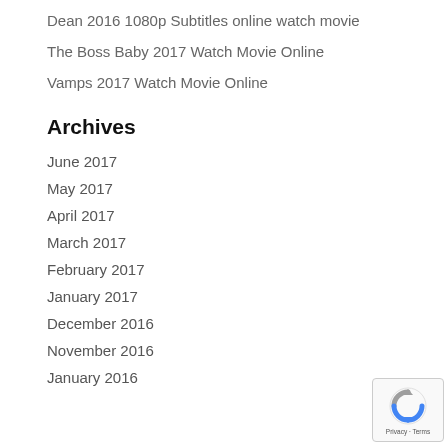Dean 2016 1080p Subtitles online watch movie
The Boss Baby 2017 Watch Movie Online
Vamps 2017 Watch Movie Online
Archives
June 2017
May 2017
April 2017
March 2017
February 2017
January 2017
December 2016
November 2016
January 2016
[Figure (logo): reCAPTCHA badge with Privacy · Terms text]